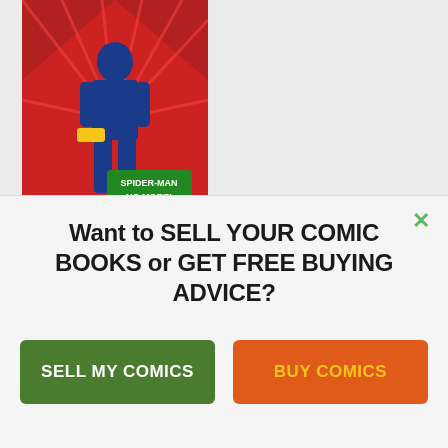[Figure (illustration): Comic book cover image showing Spider-Man from behind in a dramatic red scene with text 'SPIDER-MAN NO MORE!']
Sell My Comic Books presents a Kingpin Marvel Comics price guide. See values for all his key appearances, from Amazing Spider-Man #50. Sell your comics to us!
Read More
Want to SELL YOUR COMIC BOOKS or GET FREE BUYING ADVICE?
SELL MY COMICS
BUY COMICS